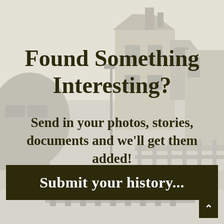[Figure (photo): Faded sepia/grayscale background photograph of an old railway station platform with a steam train carriage on the left, a Victorian station building with pitched roof and chimney in the middle-right, a lamp post, and a wooden fence along the platform edge. Tracks visible at the bottom.]
Found Something Interesting?
Send in your photos, stories, documents and we'll get them added!
Submit your history...